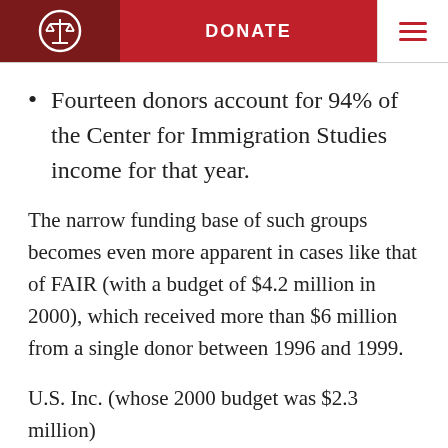DONATE
Fourteen donors account for 94% of the Center for Immigration Studies income for that year.
The narrow funding base of such groups becomes even more apparent in cases like that of FAIR (with a budget of $4.2 million in 2000), which received more than $6 million from a single donor between 1996 and 1999.
U.S. Inc. (whose 2000 budget was $2.3 million)